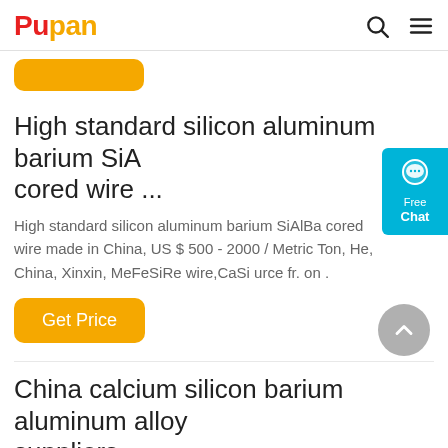Pupan
High standard silicon aluminum barium SiA cored wire ...
High standard silicon aluminum barium SiAlBa cored wire made in China, US $ 500 - 2000 / Metric Ton, He, China, Xinxin, MeFeSiRe wire,CaSi urce fr. on .
China calcium silicon barium aluminum alloy suppliers ...